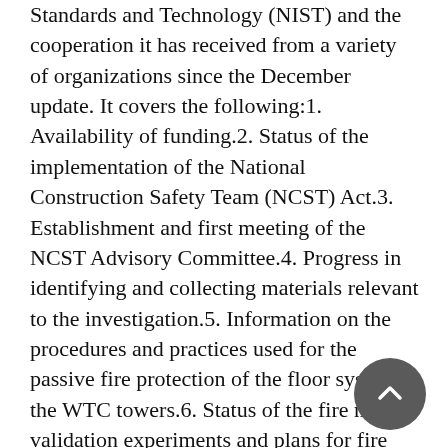Standards and Technology (NIST) and the cooperation it has received from a variety of organizations since the December update. It covers the following:1. Availability of funding.2. Status of the implementation of the National Construction Safety Team (NCST) Act.3. Establishment and first meeting of the NCST Advisory Committee.4. Progress in identifying and collecting materials relevant to the investigation.5. Information on the procedures and practices used for the passive fire protection of the floor system in the WTC towers.6. Status of the fire model validation experiments and plans for fire endurance testing of the WTC floor system.7. Summary of approach to assess the most probable structural collapse sequence, integrating impact damage, fire dynamics, thermal-structural response, and collapse initiation.8. Status of steel and its analysis.9. Photographic and video image collection and analysis.10. Status of first-person data collection effort to study occupant behavior, evacuation, and emergency response.11. Selection of external experts and contractors to support the